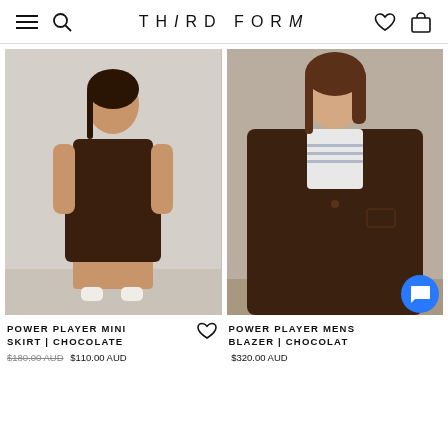THIRD FORM
[Figure (photo): Woman wearing chocolate brown crop top and mini skirt set, standing on light concrete floor against a grey wall, wearing white shoes.]
POWER PLAYER MINI SKIRT | CHOCOLATE
$180.00 AUD $110.00 AUD
[Figure (photo): Person wearing a chocolate brown oversized blazer with matching wide-leg trousers and a white striped top underneath.]
POWER PLAYER MENS BLAZER | CHOCOLATE
$320.00 AUD